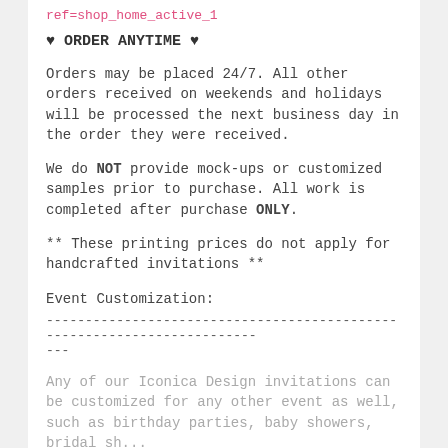ref=shop_home_active_1
♥ ORDER ANYTIME ♥
Orders may be placed 24/7. All other orders received on weekends and holidays will be processed the next business day in the order they were received.
We do NOT provide mock-ups or customized samples prior to purchase. All work is completed after purchase ONLY.
** These printing prices do not apply for handcrafted invitations **
Event Customization:
------------------------------------------------------------------------
---
Any of our Iconica Design invitations can be customized for any other event as well, such as birthday parties, baby showers, bridal showers,